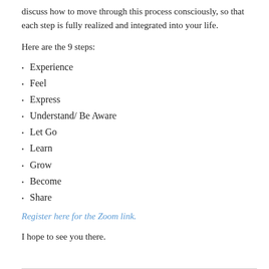discuss how to move through this process consciously, so that each step is fully realized and integrated into your life.
Here are the 9 steps:
Experience
Feel
Express
Understand/ Be Aware
Let Go
Learn
Grow
Become
Share
Register here for the Zoom link.
I hope to see you there.